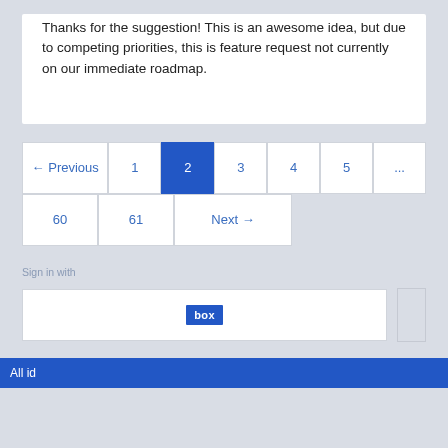Thanks for the suggestion! This is an awesome idea, but due to competing priorities, this is feature request not currently on our immediate roadmap.
← Previous  1  2  3  4  5  ...  60  61  Next →
Sign in with
[Figure (logo): Box logo sign-in button]
All ideas